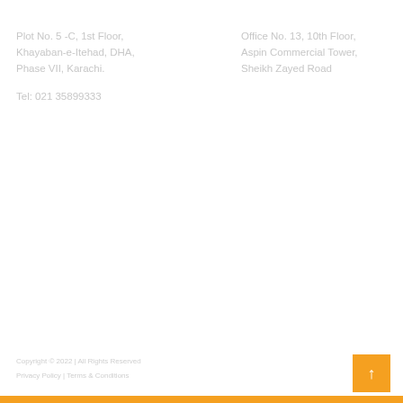Plot No. 5 -C, 1st Floor, Khayaban-e-Itehad, DHA, Phase VII, Karachi.
Office No. 13, 10th Floor, Aspin Commercial Tower, Sheikh Zayed Road
Tel: 021 35899333
Copyright © 2022 | All Rights Reserved